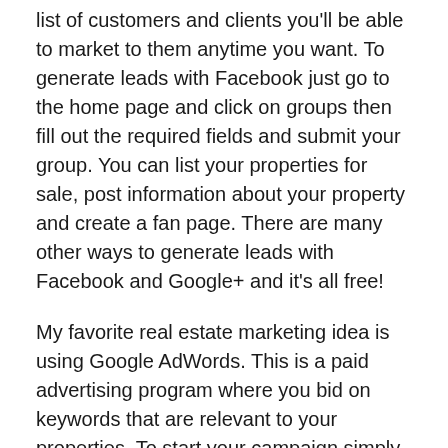list of customers and clients you'll be able to market to them anytime you want. To generate leads with Facebook just go to the home page and click on groups then fill out the required fields and submit your group. You can list your properties for sale, post information about your property and create a fan page. There are many other ways to generate leads with Facebook and Google+ and it's all free!
My favorite real estate marketing idea is using Google AdWords. This is a paid advertising program where you bid on keywords that are relevant to your properties. To start your campaign simply create a free Google account then login and type in the keywords you are interested in and create an ad using the code supplied by Google. You can track your results and learn more about Google ads.
Another great real estate marketing strategy is connecting with social media such as Instagram and Twitter. You can take these social media marketing platforms and use them